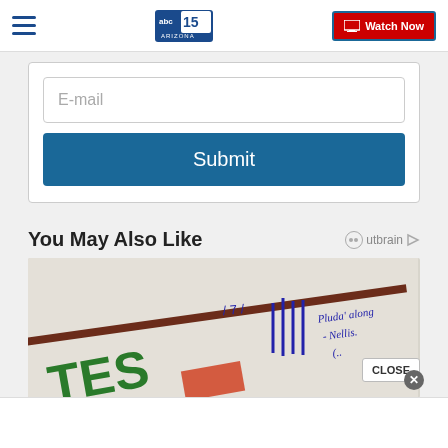ABC15 Arizona navigation bar with hamburger menu, logo, and Watch Now button
E-mail
Submit
You May Also Like
Outbrain
[Figure (photo): Photo of a sign with letters 'TES' in green and handwritten notes in blue ink on paper]
CLOSE
X